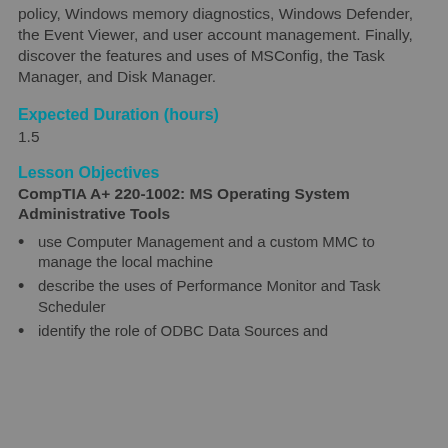policy, Windows memory diagnostics, Windows Defender, the Event Viewer, and user account management. Finally, discover the features and uses of MSConfig, the Task Manager, and Disk Manager.
Expected Duration (hours)
1.5
Lesson Objectives
CompTIA A+ 220-1002: MS Operating System Administrative Tools
use Computer Management and a custom MMC to manage the local machine
describe the uses of Performance Monitor and Task Scheduler
identify the role of ODBC Data Sources and